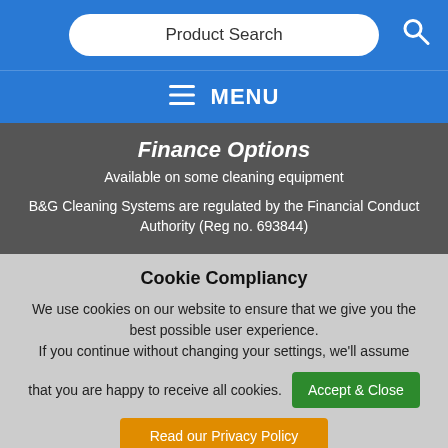[Figure (screenshot): Blue search bar with 'Product Search' input field and magnifying glass icon]
MENU
Finance Options
Available on some cleaning equipment
B&G Cleaning Systems are regulated by the Financial Conduct Authority (Reg no. 693844)
Cookie Compliancy
We use cookies on our website to ensure that we give you the best possible user experience. If you continue without changing your settings, we'll assume that you are happy to receive all cookies.
Accept & Close
Read our Privacy Policy